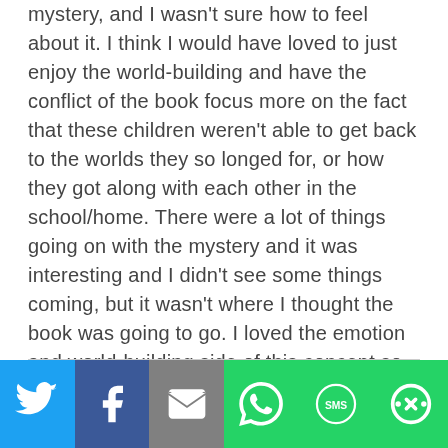mystery, and I wasn't sure how to feel about it. I think I would have loved to just enjoy the world-building and have the conflict of the book focus more on the fact that these children weren't able to get back to the worlds they so longed for, or how they got along with each other in the school/home. There were a lot of things going on with the mystery and it was interesting and I didn't see some things coming, but it wasn't where I thought the book was going to go. I loved the emotion and world-building side of this concept so much more, but having already read the other books in the series, I see how it connects to future books. I do think I would have enjoyed less of a mystery but I still appreciated it all!
[Figure (other): Social sharing bar with icons for Twitter, Facebook, Email, WhatsApp, SMS, and More]